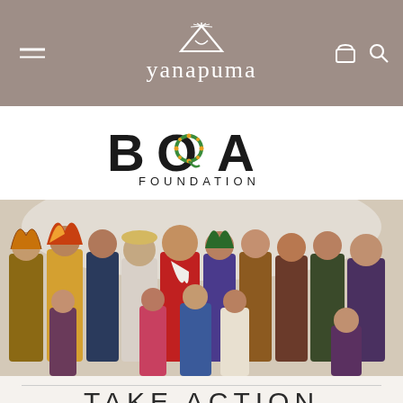yanapuma
[Figure (logo): BOA Foundation logo with decorative circular 'O' element and text 'BOA FOUNDATION']
[Figure (photo): Group photo of indigenous people in traditional ceremonial dress and regalia from various cultures, standing together indoors]
TAKE ACTION